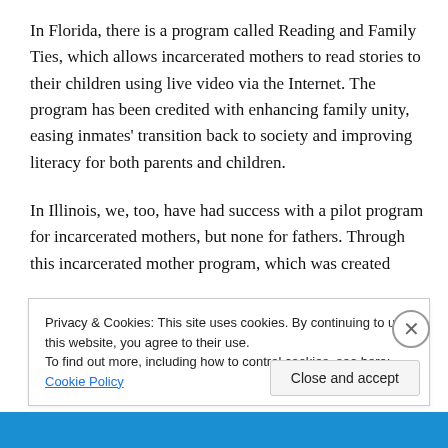In Florida, there is a program called Reading and Family Ties, which allows incarcerated mothers to read stories to their children using live video via the Internet. The program has been credited with enhancing family unity, easing inmates' transition back to society and improving literacy for both parents and children.
In Illinois, we, too, have had success with a pilot program for incarcerated mothers, but none for fathers. Through this incarcerated mother program, which was created
Privacy & Cookies: This site uses cookies. By continuing to use this website, you agree to their use.
To find out more, including how to control cookies, see here: Cookie Policy
Close and accept